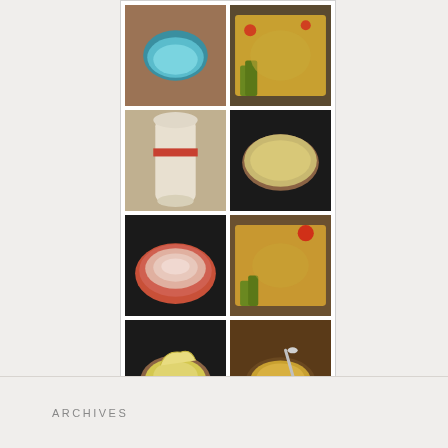[Figure (photo): Grid of 8 pottery/ceramics product photos arranged in 2 columns and 4 rows: teal bowl, food in pan, striped vase, oval plate, red spiral bowl, food in pan, yellow flower bowl, gold bowl with spoon]
Etsy
DowntoEarthenware
ARCHIVES